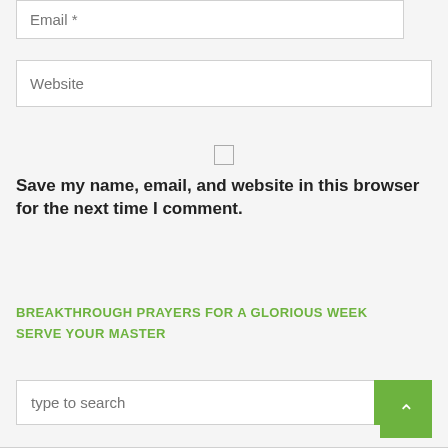Email *
Website
Save my name, email, and website in this browser for the next time I comment.
Send
BREAKTHROUGH PRAYERS FOR A GLORIOUS WEEK
SERVE YOUR MASTER
type to search